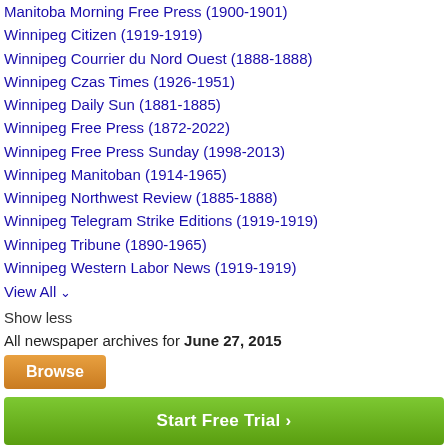Manitoba Morning Free Press (1900-1901)
Winnipeg Citizen (1919-1919)
Winnipeg Courrier du Nord Ouest (1888-1888)
Winnipeg Czas Times (1926-1951)
Winnipeg Daily Sun (1881-1885)
Winnipeg Free Press (1872-2022)
Winnipeg Free Press Sunday (1998-2013)
Winnipeg Manitoban (1914-1965)
Winnipeg Northwest Review (1885-1888)
Winnipeg Telegram Strike Editions (1919-1919)
Winnipeg Tribune (1890-1965)
Winnipeg Western Labor News (1919-1919)
View All ▾
Show less
All newspaper archives for June 27, 2015
Browse
Start Free Trial ›
About Us | Contact Us | Blog | This Day In History | Free Newspaper Archives | Terms | Privacy | Copyright | Your California Privacy Rights | Sitemap
© Copyright 2022 NewspaperARCHIVE.com. All rights reserved.